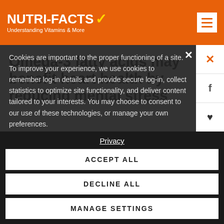NUTRI-FACTS ✓ Understanding Vitamins & More
Omega-3 fatty acids may benefit heart health by reducing mental stress
News - 28 June 2013
Increased intakes of omega-3 fatty acids may reduce heart attack risk by mental stress, a new US study suggests.
Cookies are important to the proper functioning of a site. To improve your experience, we use cookies to remember log-in details and provide secure log-in, collect statistics to optimize site functionality, and deliver content tailored to your interests. You may choose to consent to our use of these technologies, or manage your own preferences.
Privacy
ACCEPT ALL
DECLINE ALL
MANAGE SETTINGS